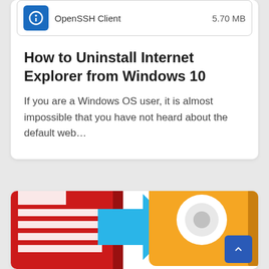[Figure (screenshot): OpenSSH Client row showing a blue gear icon, the text 'OpenSSH Client', and '5.70 MB' on the right side]
How to Uninstall Internet Explorer from Windows 10
If you are a Windows OS user, it is almost impossible that you have not heard about the default web…
[Figure (illustration): Illustration showing a red document icon on the left, a blue arrow pointing right in the center, and an orange folder/image icon on the right, representing a file conversion or transfer concept. A blue scroll-to-top button is in the bottom-right corner.]